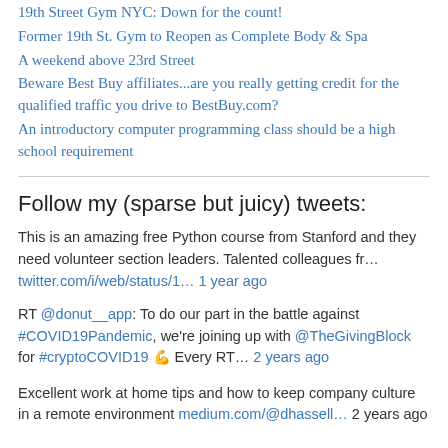19th Street Gym NYC: Down for the count!
Former 19th St. Gym to Reopen as Complete Body & Spa
A weekend above 23rd Street
Beware Best Buy affiliates...are you really getting credit for the qualified traffic you drive to BestBuy.com?
An introductory computer programming class should be a high school requirement
Follow my (sparse but juicy) tweets:
This is an amazing free Python course from Stanford and they need volunteer section leaders. Talented colleagues fr…
twitter.com/i/web/status/1… 1 year ago
RT @donut__app: To do our part in the battle against #COVID19Pandemic, we're joining up with @TheGivingBlock for #cryptoCOVID19 💪 Every RT… 2 years ago
Excellent work at home tips and how to keep company culture in a remote environment medium.com/@dhassell… 2 years ago